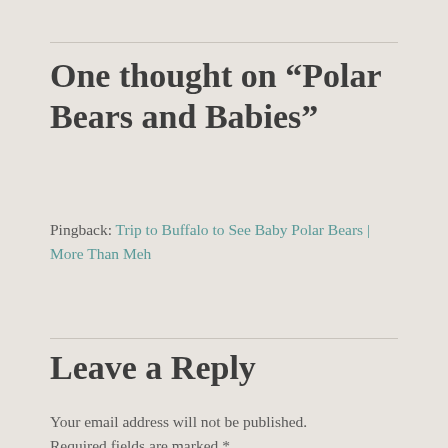One thought on “Polar Bears and Babies”
Pingback: Trip to Buffalo to See Baby Polar Bears | More Than Meh
Leave a Reply
Your email address will not be published.
Required fields are marked *